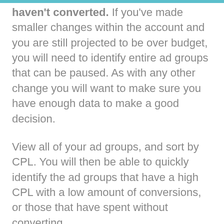haven't converted. If you've made smaller changes within the account and you are still projected to be over budget, you will need to identify entire ad groups that can be paused. As with any other change you will want to make sure you have enough data to make a good decision.
View all of your ad groups, and sort by CPL. You will then be able to quickly identify the ad groups that have a high CPL with a low amount of conversions, or those that have spent without converting